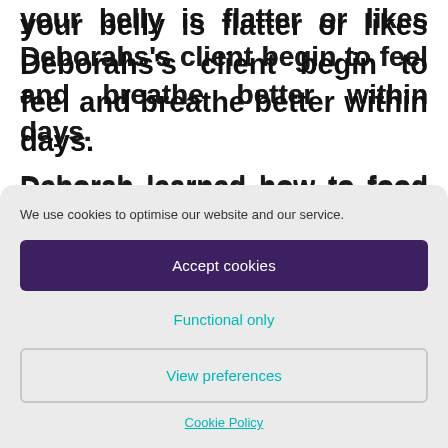Maybe the fullness in your skin is gone, or your belly is flatter or likes Deborahs's client begin to feel and breathe better within days.

Deborah learned how to food test by attending one of our Balanced Health Training...
We use cookies to optimise our website and our service.
Accept cookies
Functional only
View preferences
Cookie Policy